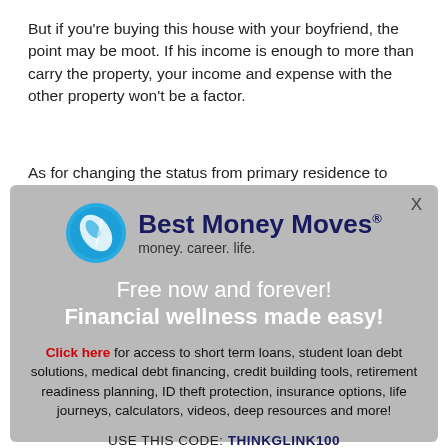But if you're buying this house with your boyfriend, the point may be moot. If his income is enough to more than carry the property, your income and expense with the other property won't be a factor.
As for changing the status from primary residence to
[Figure (logo): Best Money Moves logo — blue circular icon with a white leaf/arrow shape, beside the bold dark-blue text 'Best Money Moves®' and tagline 'money. career. life.']
Free now and forever!
Financial wellness made easy!
Click here for access to short term loans, student loan debt solutions, medical debt financing, credit building tools, retirement readiness planning, ID theft protection, insurance options, life journeys, calculators, videos, deep resources and more!
USE THIS CODE: THINKGLINK100